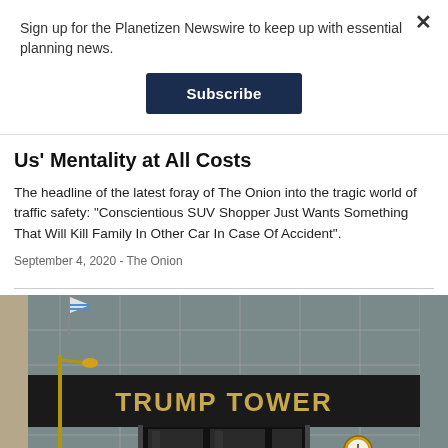Sign up for the Planetizen Newswire to keep up with essential planning news.
Subscribe
Us' Mentality at All Costs
The headline of the latest foray of The Onion into the tragic world of traffic safety: "Conscientious SUV Shopper Just Wants Something That Will Kill Family In Other Car In Case Of Accident".
September 4, 2020 - The Onion
[Figure (photo): Photograph of the entrance to Trump Tower building, showing the gold 'TRUMP TOWER' sign above the entrance doors, with a street clock visible and glass facade in the background.]